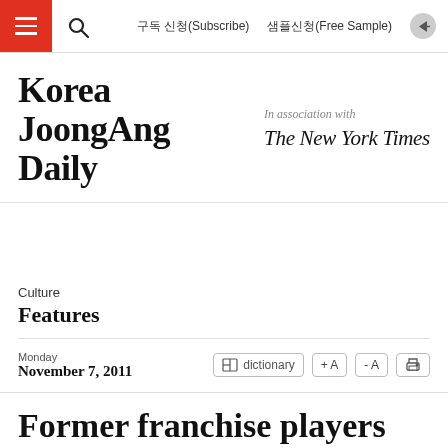구독 신청(Subscribe)   샘플신청(Free Sample)
[Figure (logo): Korea JoongAng Daily logo with 'In association with The New York Times']
Culture
Features
Monday
November 7, 2011
Former franchise players become